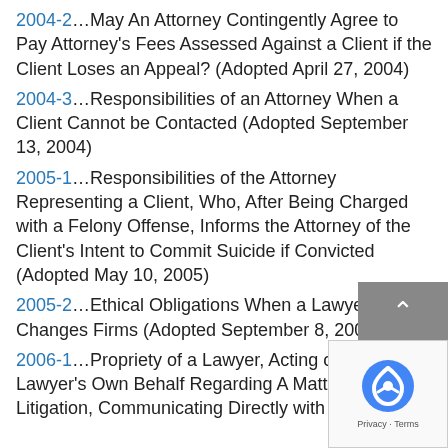2004-2…May An Attorney Contingently Agree to Pay Attorney's Fees Assessed Against a Client if the Client Loses an Appeal? (Adopted April 27, 2004)
2004-3…Responsibilities of an Attorney When a Client Cannot be Contacted (Adopted September 13, 2004)
2005-1…Responsibilities of the Attorney Representing a Client, Who, After Being Charged with a Felony Offense, Informs the Attorney of the Client's Intent to Commit Suicide if Convicted (Adopted May 10, 2005)
2005-2…Ethical Obligations When a Lawyer Changes Firms (Adopted September 8, 2005)
2006-1…Propriety of a Lawyer, Acting on the Lawyer's Own Behalf Regarding A Matter Not in Litigation, Communicating Directly with